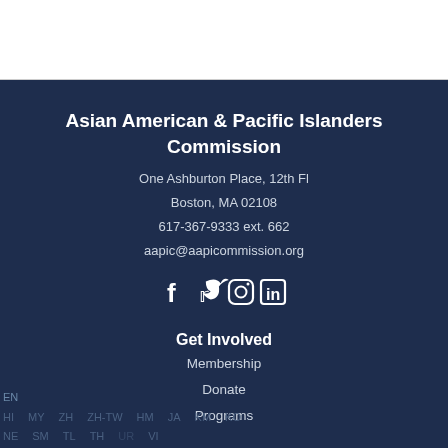Asian American & Pacific Islanders Commission
One Ashburton Place, 12th Fl
Boston, MA 02108
617-367-9333 ext. 662
aapic@aapicommission.org
[Figure (infographic): Social media icons: Facebook, Twitter, Instagram, LinkedIn]
Get Involved
Membership
Donate
Programs
EN  HI  MY  ZH  ZH-TW  HM  JA  KM  KO  NE  SM  TL  TH  UR  VI